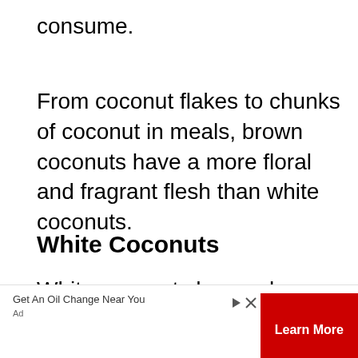consume.
From coconut flakes to chunks of coconut in meals, brown coconuts have a more floral and fragrant flesh than white coconuts.
White Coconuts
White coconuts have a less than desirable, gelatinous meat inside. It doesn't have much flavor, especially
[Figure (other): Advertisement banner: 'Get An Oil Change Near You' with 'Learn More' red button, play icon and close icon, and 'Ad' label.]